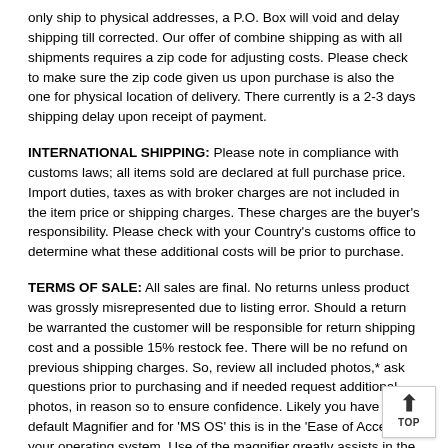only ship to physical addresses, a P.O. Box will void and delay shipping till corrected. Our offer of combine shipping as with all shipments requires a zip code for adjusting costs. Please check to make sure the zip code given us upon purchase is also the one for physical location of delivery. There currently is a 2-3 days shipping delay upon receipt of payment.
INTERNATIONAL SHIPPING: Please note in compliance with customs laws; all items sold are declared at full purchase price. Import duties, taxes as with broker charges are not included in the item price or shipping charges. These charges are the buyer's responsibility. Please check with your Country's customs office to determine what these additional costs will be prior to purchase.
TERMS OF SALE: All sales are final. No returns unless product was grossly misrepresented due to listing error. Should a return be warranted the customer will be responsible for return shipping cost and a possible 15% restock fee. There will be no refund on previous shipping charges. So, review all included photos,* ask questions prior to purchasing and if needed request additional photos, in reason so to ensure confidence. Likely you have a default Magnifier and for 'MS OS' this is in the 'Ease of Access' of your operating system. Use of the magnifier greatly assists in the viewing of photos we post and is strongly advised, so to get the most information possible. Bottom line is keeping cost low in sales